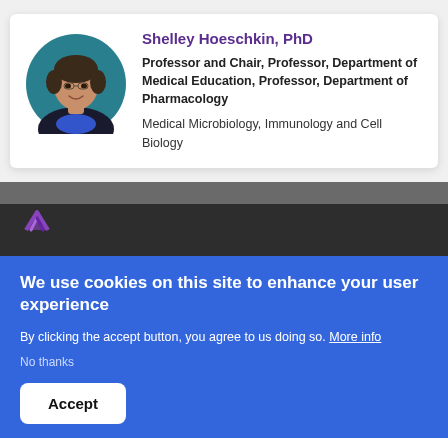[Figure (photo): Circular profile photo of Shelley Hoeschkin, PhD — a woman with short hair wearing a dark jacket, against a teal background]
Shelley Hoeschkin, PhD
Professor and Chair, Professor, Department of Medical Education, Professor, Department of Pharmacology
Medical Microbiology, Immunology and Cell Biology
[Figure (logo): Purple angular logo icon on dark background]
We use cookies on this site to enhance your user experience
By clicking the accept button, you agree to us doing so. More info
No thanks
Accept